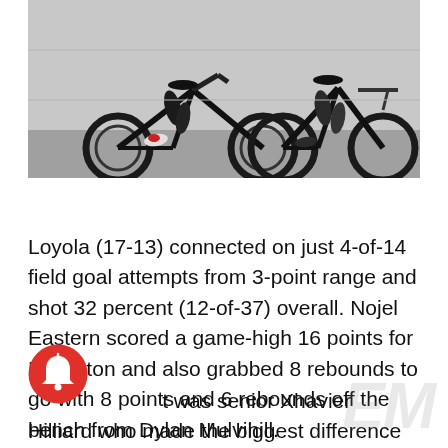[Figure (photo): Two cyclists on black road bikes posed in front of a gray wall, showing lower body and bikes, wearing cycling gear with red accents.]
Loyola (17-13) connected on just 4-of-14 field goal attempts from 3-point range and shot 32 percent (12-of-37) overall. Nojel Eastern scored a game-high 16 points for Evanston and also grabbed 8 rebounds to go with 8 points and 6 rebounds off the bench from Dylan Mulvihill.
But was senior Xhavier Hilliard who made the biggest difference for the Wildkits. He